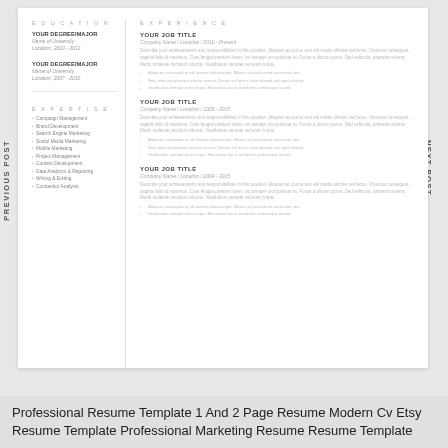[Figure (screenshot): Preview of a professional resume template showing two columns: left column with Education and Expertise sections, right column with Experience section listing multiple job titles with lorem ipsum placeholder text. Navigation labels 'PREVIOUS POST' and 'NEXT POST' appear on left and right sides.]
Professional Resume Template 1 And 2 Page Resume Modern Cv Etsy Resume Template Professional Marketing Resume Resume Template